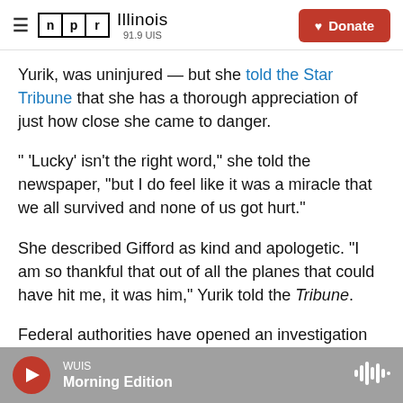NPR Illinois 91.9 UIS | Donate
Yurik, was uninjured — but she told the Star Tribune that she has a thorough appreciation of just how close she came to danger.
" 'Lucky' isn't the right word," she told the newspaper, "but I do feel like it was a miracle that we all survived and none of us got hurt."
She described Gifford as kind and apologetic. "I am so thankful that out of all the planes that could have hit me, it was him," Yurik told the Tribune.
Federal authorities have opened an investigation into the incident.
WUIS Morning Edition